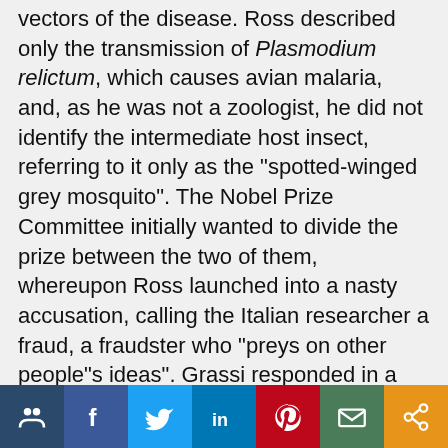vectors of the disease. Ross described only the transmission of Plasmodium relictum, which causes avian malaria, and, as he was not a zoologist, he did not identify the intermediate host insect, referring to it only as the "spotted-winged grey mosquito". The Nobel Prize Committee initially wanted to divide the prize between the two of them, whereupon Ross launched into a nasty accusation, calling the Italian researcher a fraud, a fraudster who "preys on other people"s ideas". Grassi responded in a similar tone, and the committee asked Robert Koch to be a neutral referee. Koch said that Grassi did not deserve the award, which Ross alone received.
[Figure (other): Social sharing bar with buttons: community/share icon (dark teal), Facebook (blue), Twitter (light blue), LinkedIn (blue), Pinterest (red), Email (green), Share (orange)]